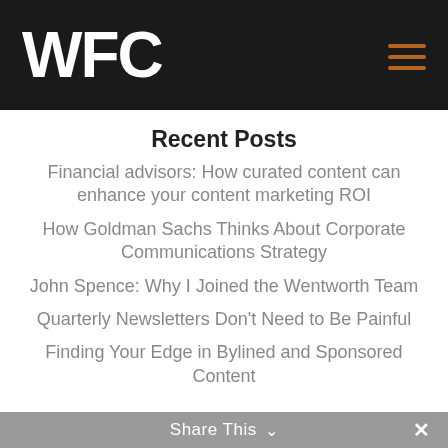WFC
Recent Posts
Financial advisors: How curated content can enhance your content marketing ROI
How Goldman Sachs Thinks About Corporate Communications Strategy
John Spence: Why I Joined the Wentworth Team
Quarterly Newsletters Don't Need to Be Painful
Finding Your Edge in Bylined and Sponsored Content
Share This ∨  ✕